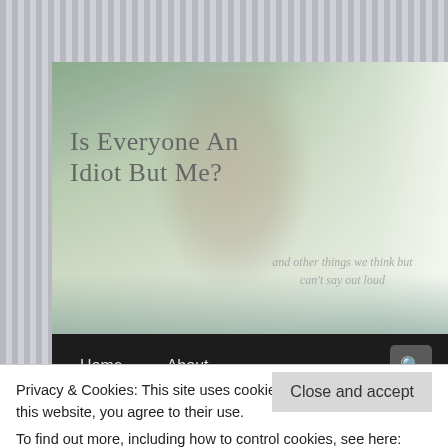[Figure (screenshot): Blog header banner with woman covering face with hands, sitting on sofa. Blog title 'Is Everyone an Idiot but Me?' and subtitle 'and other things we think but can't say out loud' overlaid on photo.]
Is Everyone an Idiot but Me?
and other things we think but can't say out loud
Home   About
TAG ARCHIVES: GETTING READY FOR WORK
Idiot of the Week: Me,
25
Privacy & Cookies: This site uses cookies. By continuing to use this website, you agree to their use.
To find out more, including how to control cookies, see here: Cookie Policy
Close and accept
routine and a relay race. In a relay, different team